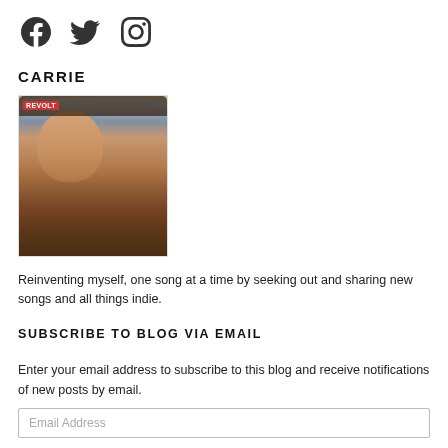[Figure (logo): Social media icons: Facebook, Twitter, Instagram in dark gray]
CARRIE
[Figure (photo): Photo of a woman with long dark hair smiling, in front of a backdrop with REVOLT and xfinity logos]
Reinventing myself, one song at a time by seeking out and sharing new songs and all things indie.
SUBSCRIBE TO BLOG VIA EMAIL
Enter your email address to subscribe to this blog and receive notifications of new posts by email.
Email Address